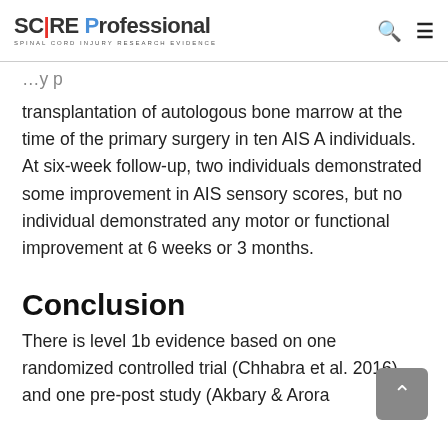SCIRE Professional — SPINAL CORD INJURY RESEARCH EVIDENCE
transplantation of autologous bone marrow at the time of the primary surgery in ten AIS A individuals. At six-week follow-up, two individuals demonstrated some improvement in AIS sensory scores, but no individual demonstrated any motor or functional improvement at 6 weeks or 3 months.
Conclusion
There is level 1b evidence based on one randomized controlled trial (Chhabra et al. 2016) and one pre-post study (Akbary & Arora